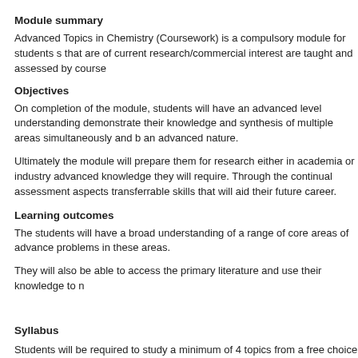Module summary
Advanced Topics in Chemistry (Coursework) is a compulsory module for students s that are of current research/commercial interest are taught and assessed by course
Objectives
On completion of the module, students will have an advanced level understanding demonstrate their knowledge and synthesis of multiple areas simultaneously and b an advanced nature.
Ultimately the module will prepare them for research either in academia or industry advanced knowledge they will require. Through the continual assessment aspects transferrable skills that will aid their future career.
Learning outcomes
The students will have a broad understanding of a range of core areas of advance problems in these areas.
They will also be able to access the primary literature and use their knowledge to n
Syllabus
Students will be required to study a minimum of 4 topics from a free choice of 9 top based on continuous assessment of four of these topics. The exact topics will vary